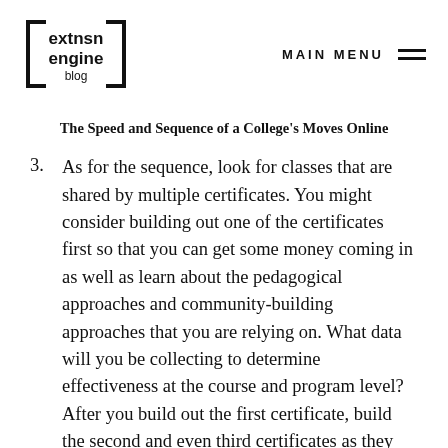[Figure (logo): extnsn engine blog logo in a bracket/box frame]
MAIN MENU
The Speed and Sequence of a College's Moves Online
3. As for the sequence, look for classes that are shared by multiple certificates. You might consider building out one of the certificates first so that you can get some money coming in as well as learn about the pedagogical approaches and community-building approaches that you are relying on. What data will you be collecting to determine effectiveness at the course and program level? After you build out the first certificate, build the second and even third certificates as they should be relatively quick given that they shared courses